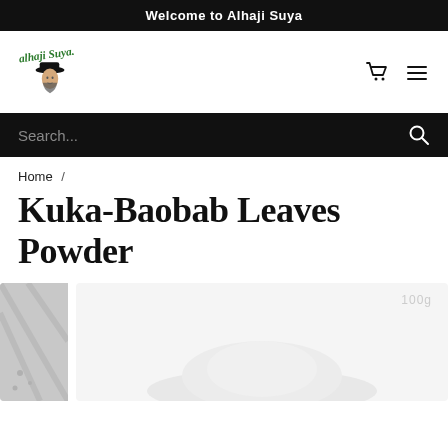Welcome to Alhaji Suya
[Figure (logo): Alhaji Suya logo with stylized text and illustration of a man wearing a hat]
[Figure (screenshot): Search bar with dark background and magnifier icon on the right]
Home /
Kuka-Baobab Leaves Powder
[Figure (photo): Product images showing two photos: a thumbnail on the left with a textured background, and main image showing a white powder mound on light background with '100g' label]